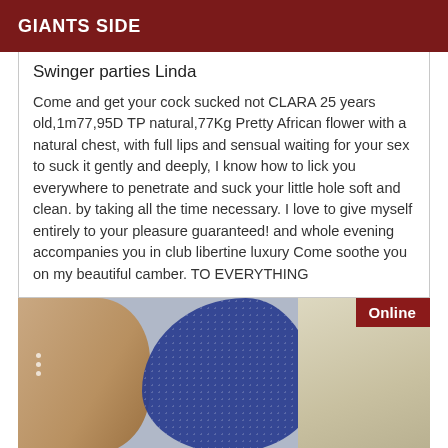GIANTS SIDE
Swinger parties Linda
Come and get your cock sucked not CLARA 25 years old,1m77,95D TP natural,77Kg Pretty African flower with a natural chest, with full lips and sensual waiting for your sex to suck it gently and deeply, I know how to lick you everywhere to penetrate and suck your little hole soft and clean. by taking all the time necessary. I love to give myself entirely to your pleasure guaranteed! and whole evening accompanies you in club libertine luxury Come soothe you on my beautiful camber. TO EVERYTHING
[Figure (photo): Partial photo showing skin and blue lace fabric, with an 'Online' badge in the top right corner]